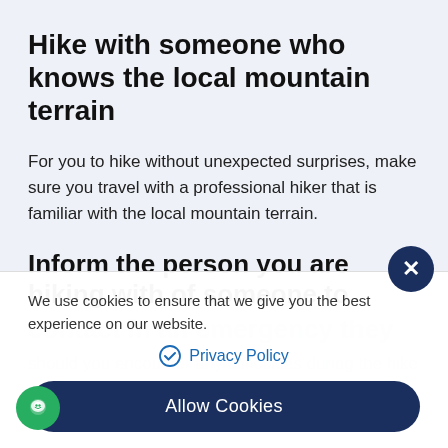Hike with someone who knows the local mountain terrain
For you to hike without unexpected surprises, make sure you travel with a professional hiker that is familiar with the local mountain terrain.
Inform the person you are hiking with of someone to contact in an emergency
We use cookies to ensure that we give you the best experience on our website.
Privacy Policy
Allow Cookies